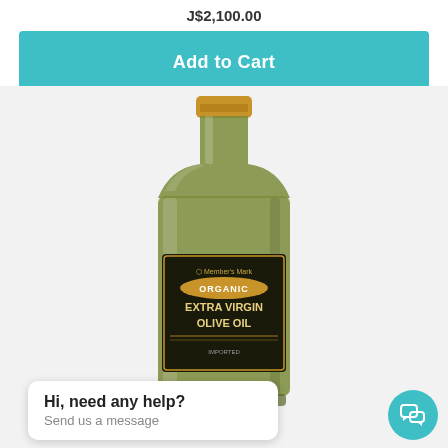J$2,100.00
Add to Cart
[Figure (photo): A large bottle of Member's Mark Organic Extra Virgin Olive Oil with a gold cap and dark label, shown against a light gray background.]
Hi, need any help? Send us a message